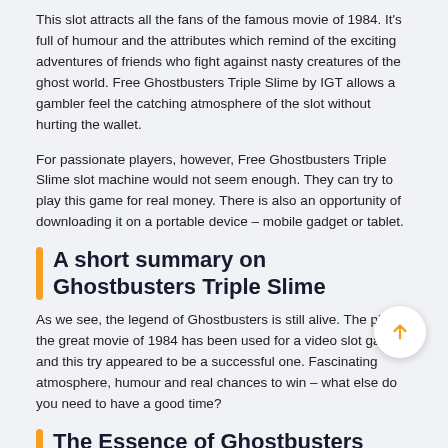This slot attracts all the fans of the famous movie of 1984. It's full of humour and the attributes which remind of the exciting adventures of friends who fight against nasty creatures of the ghost world. Free Ghostbusters Triple Slime by IGT allows a gambler feel the catching atmosphere of the slot without hurting the wallet.
For passionate players, however, Free Ghostbusters Triple Slime slot machine would not seem enough. They can try to play this game for real money. There is also an opportunity of downloading it on a portable device – mobile gadget or tablet.
A short summary on Ghostbusters Triple Slime
As we see, the legend of Ghostbusters is still alive. The plot of the great movie of 1984 has been used for a video slot game, and this try appeared to be a successful one. Fascinating atmosphere, humour and real chances to win – what else do you need to have a good time?
The Essence of Ghostbusters Triple Slime
The game of the focus is a slot that has over five reels and about 720